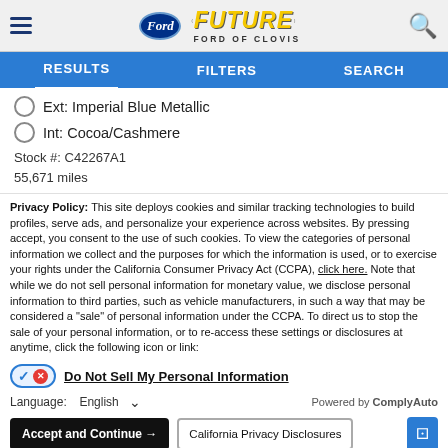Future Ford of Clovis
RESULTS | FILTERS | SEARCH
Ext: Imperial Blue Metallic
Int: Cocoa/Cashmere
Stock #: C42267A1
55,671 miles
Privacy Policy: This site deploys cookies and similar tracking technologies to build profiles, serve ads, and personalize your experience across websites. By pressing accept, you consent to the use of such cookies. To view the categories of personal information we collect and the purposes for which the information is used, or to exercise your rights under the California Consumer Privacy Act (CCPA), click here. Note that while we do not sell personal information for monetary value, we disclose personal information to third parties, such as vehicle manufacturers, in such a way that may be considered a "sale" of personal information under the CCPA. To direct us to stop the sale of your personal information, or to re-access these settings or disclosures at anytime, click the following icon or link:
Do Not Sell My Personal Information
Language: English
Powered by ComplyAuto
Accept and Continue → | California Privacy Disclosures